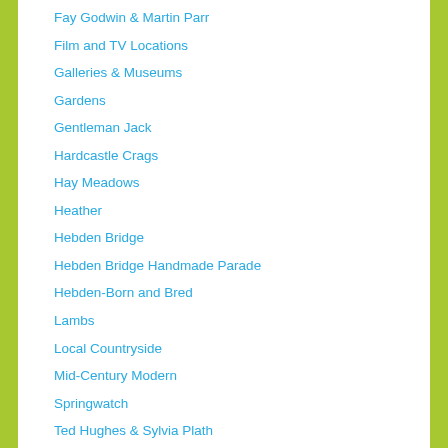Fay Godwin & Martin Parr
Film and TV Locations
Galleries & Museums
Gardens
Gentleman Jack
Hardcastle Crags
Hay Meadows
Heather
Hebden Bridge
Hebden Bridge Handmade Parade
Hebden-Born and Bred
Lambs
Local Countryside
Mid-Century Modern
Springwatch
Ted Hughes & Sylvia Plath